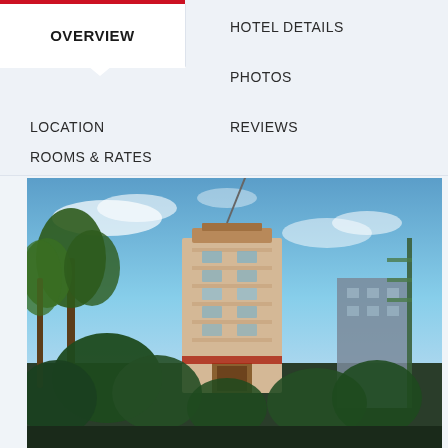OVERVIEW
HOTEL DETAILS
PHOTOS
LOCATION
REVIEWS
ROOMS & RATES
[Figure (photo): Exterior photo of a multi-story hotel building with palm trees in the foreground, blue sky with clouds in the background, and surrounding urban buildings.]